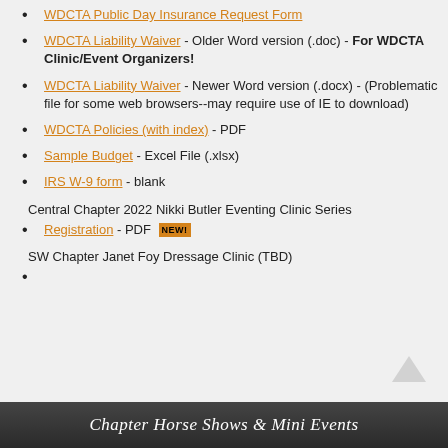WDCTA Public Day Insurance Request Form
WDCTA Liability Waiver - Older Word version (.doc) - For WDCTA Clinic/Event Organizers!
WDCTA Liability Waiver - Newer Word version (.docx) - (Problematic file for some web browsers--may require use of IE to download)
WDCTA Policies (with index) - PDF
Sample Budget - Excel File (.xlsx)
IRS W-9 form - blank
Central Chapter 2022 Nikki Butler Eventing Clinic Series
Registration - PDF NEW!
SW Chapter Janet Foy Dressage Clinic (TBD)
Chapter Horse Shows & Mini Events